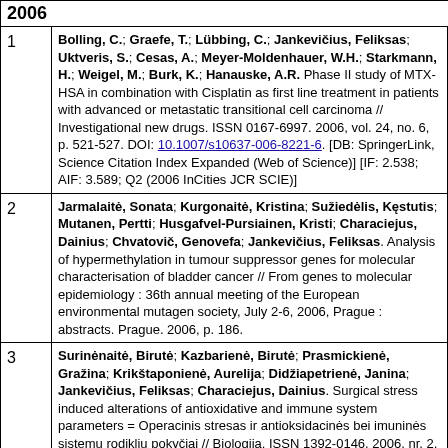2006
Bolling, C.; Graefe, T.; Lübbing, C.; Jankevičius, Feliksas; Uktveris, S.; Cesas, A.; Meyer-Moldenhauer, W.H.; Starkmann, H.; Weigel, M.; Burk, K.; Hanauske, A.R. Phase II study of MTX-HSA in combination with Cisplatin as first line treatment in patients with advanced or metastatic transitional cell carcinoma // Investigational new drugs. ISSN 0167-6997. 2006, vol. 24, no. 6, p. 521-527. DOI: 10.1007/s10637-006-8221-6. [DB: SpringerLink, Science Citation Index Expanded (Web of Science)] [IF: 2.538; AIF: 3.589; Q2 (2006 InCities JCR SCIE)]
Jarmalaitė, Sonata; Kurgonaitė, Kristina; Sužiedėlis, Kęstutis; Mutanen, Pertti; Husgafvel-Pursiainen, Kristi; Characiejus, Dainius; Chvatovič, Genovefa; Jankevičius, Feliksas. Analysis of hypermethylation in tumour suppressor genes for molecular characterisation of bladder cancer // From genes to molecular epidemiology : 36th annual meeting of the European environmental mutagen society, July 2-6, 2006, Prague : abstracts. Prague. 2006, p. 186.
Surinėnaitė, Birutė; Kazbarienė, Birutė; Prasmickienė, Gražina; Krikštaponienė, Aurelija; Didžiapetrienė, Janina; Jankevičius, Feliksas; Characiejus, Dainius. Surgical stress induced alterations of antioxidative and immune system parameters = Operacinis stresas ir antioksidacinės bei imuninės sistemų rodiklių pokyčiai // Biologija. ISSN 1392-0146. 2006, nr. 2, p. 76-79. [DB: Zoological Record, Current Abstracts (EBSCO), TOC Premier, VINITI, CAB Abstracts]
Šalkus, Giedrius; Petročka, Donatas; Mečkauskas, R.; (cut off)